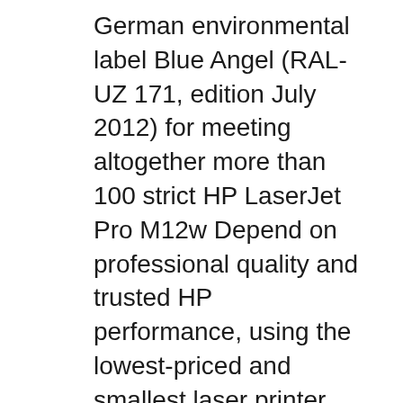German environmental label Blue Angel (RAL-UZ 171, edition July 2012) for meeting altogether more than 100 strict HP LaserJet Pro M12w Depend on professional quality and trusted HP performance, using the lowest-priced and smallest laser printer from HP® Australia
HP LaserJet Pro M201dw Review Trusted Reviews. Imprimante laser Hp HP LASERJET PRO M12W - Imprimante laser monochrome. - La qualité et la fiabilité que vous attendez des leaders industriels des impressions laser - Une taille compacte : la plus petite imprimantelaser de HP - Réseau sans fil, Welcome to HP Forums. This is a great